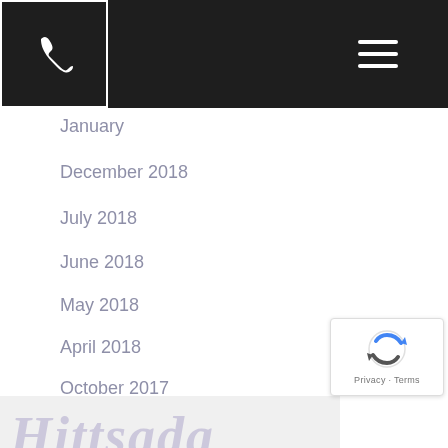Navigation header with phone icon and hamburger menu
January (partial, cut off at top)
December 2018
July 2018
June 2018
May 2018
April 2018
October 2017
June 2016
[Figure (logo): Partial cursive/script logo text at the bottom of the page in muted purple color]
[Figure (other): reCAPTCHA badge with Google logo and Privacy - Terms text]